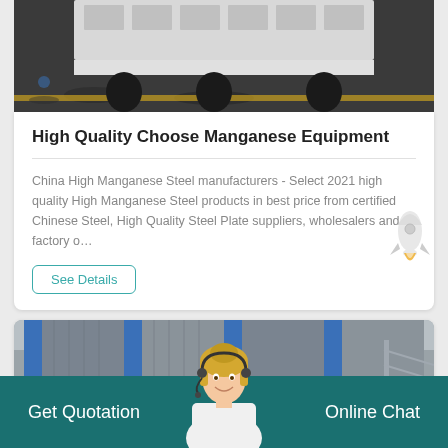[Figure (photo): Industrial machinery or equipment on a factory floor, showing white/grey structure with black rubber feet/mounts on grey concrete floor]
High Quality Choose Manganese Equipment
China High Manganese Steel manufacturers - Select 2021 high quality High Manganese Steel products in best price from certified Chinese Steel, High Quality Steel Plate suppliers, wholesalers and factory o…
See Details
[Figure (photo): Rocket/spaceship cartoon icon]
[Figure (photo): Industrial facility or factory exterior showing blue pillars, metal structures, and grey building facade]
[Figure (photo): Customer service representative - blonde woman with headset smiling]
Get Quotation
Online Chat